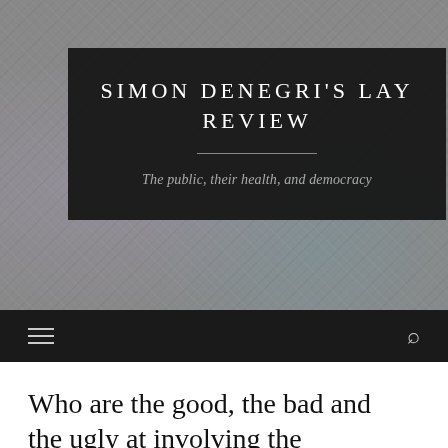SIMON DENEGRI'S LAY REVIEW
The public, their health, and democracy
Who are the good, the bad and the ugly at involving the